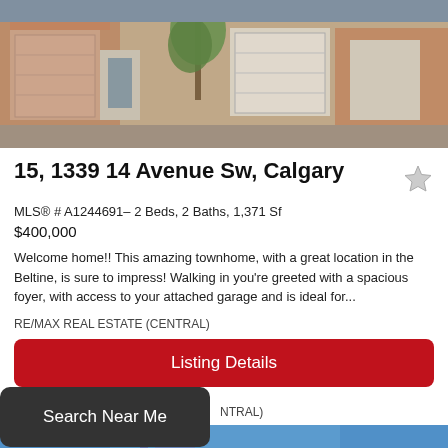[Figure (photo): Exterior photo of brick townhome complex with garages and trees]
15, 1339 14 Avenue Sw, Calgary
MLS® # A1244691 - 2 Beds, 2 Baths, 1,371 Sf
$400,000
Welcome home!! This amazing townhome, with a great location in the Beltine, is sure to impress! Walking in you're greeted with a spacious foyer, with access to your attached garage and is ideal for...
RE/MAX REAL ESTATE (CENTRAL)
Listing Details
Search Near Me
NTRAL)
[Figure (photo): Partial photo of another property listing below]